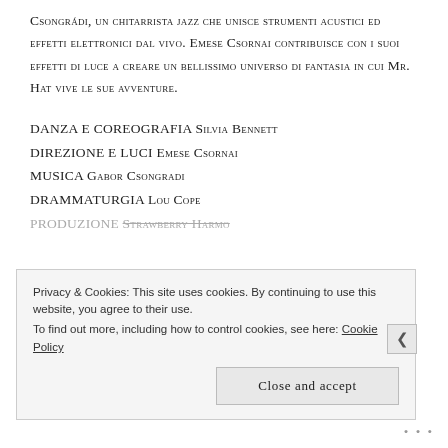Csongrádi, un chitarrista jazz che unisce strumenti acustici ed effetti elettronici dal vivo. Emese Csornai contribuisce con i suoi effetti di luce a creare un bellissimo universo di fantasia in cui Mr. Hat vive le sue avventure.
DANZA E COREOGRAFIA Silvia Bennett
DIREZIONE E LUCI Emese Csornai
MUSICA GABOR CSONGRADI
DRAMMATURGIA Lou Cope
PRODUZIONE [partially visible]
Privacy & Cookies: This site uses cookies. By continuing to use this website, you agree to their use.
To find out more, including how to control cookies, see here: Cookie Policy
Close and accept